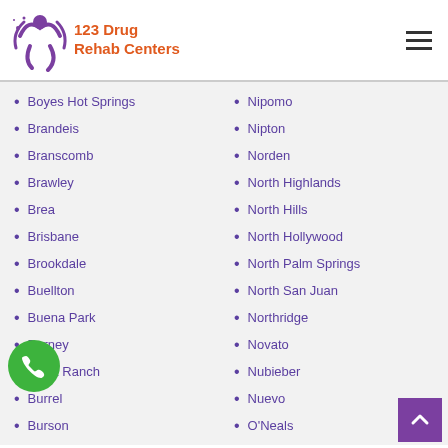[Figure (logo): 123 Drug Rehab Centers logo with purple figure and orange text]
Boyes Hot Springs
Brandeis
Branscomb
Brawley
Brea
Brisbane
Brookdale
Buellton
Buena Park
Burney
Burnt Ranch
Burrel
Burson
Nipomo
Nipton
Norden
North Highlands
North Hills
North Hollywood
North Palm Springs
North San Juan
Northridge
Novato
Nubieber
Nuevo
O'Neals